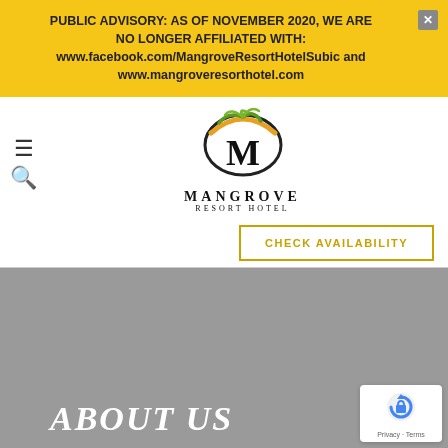PUBLIC ADVISORY: AS OF NOVEMBER 2020, WE ARE NO LONGER AFFILIATED WITH: www.facebook.com/MangroveResortHotelSubic and www.mangroveresorthotel.com
[Figure (logo): Mangrove Resort Hotel logo with stylized M and palm leaves, text MANGROVE RESORT HOTEL]
CHECK AVAILABILITY
ABOUT US